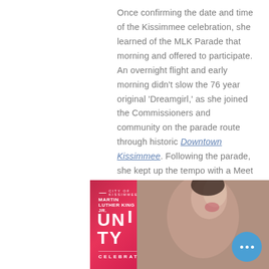Once confirming the date and time of the Kissimmee celebration, she learned of the MLK Parade that morning and offered to participate. An overnight flight and early morning didn't slow the 76 year original 'Dreamgirl,' as she joined the Commissioners and community on the parade route through historic Downtown Kissimmee. Following the parade, she kept up the tempo with a Meet & Greet with locals and their families, smiling and hugging dozens for photos, followed by a special edition Facebook Live Interview with Kissimmee Communications Director Melissa Zayas-Moreno.
[Figure (photo): City of Kissimmee Martin Luther King Jr. Unity Celebration banner/promotional image with pink and teal background, diagonal white lines, and a person celebrating on the right side. A blue circle button with three dots overlaid.]